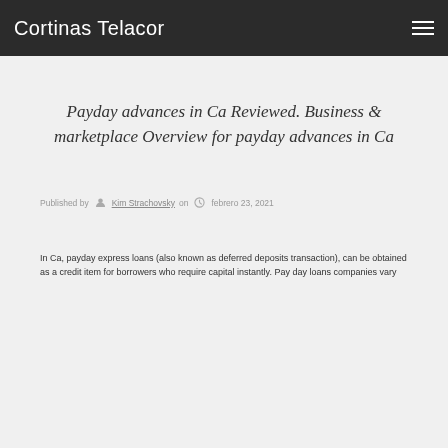Cortinas Telacor
Payday advances in Ca Reviewed. Business & marketplace Overview for payday advances in Ca
Published by Kim Strachovsky on febrero 23, 2021
In Ca, payday express loans (also known as deferred deposits transaction), can be obtained as a credit item for borrowers who require capital instantly. Pay day loans companies vary